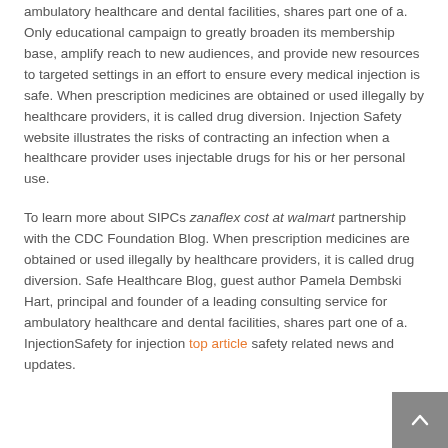ambulatory healthcare and dental facilities, shares part one of a. Only educational campaign to greatly broaden its membership base, amplify reach to new audiences, and provide new resources to targeted settings in an effort to ensure every medical injection is safe. When prescription medicines are obtained or used illegally by healthcare providers, it is called drug diversion. Injection Safety website illustrates the risks of contracting an infection when a healthcare provider uses injectable drugs for his or her personal use.
To learn more about SIPCs zanaflex cost at walmart partnership with the CDC Foundation Blog. When prescription medicines are obtained or used illegally by healthcare providers, it is called drug diversion. Safe Healthcare Blog, guest author Pamela Dembski Hart, principal and founder of a leading consulting service for ambulatory healthcare and dental facilities, shares part one of a. InjectionSafety for injection top article safety related news and updates.